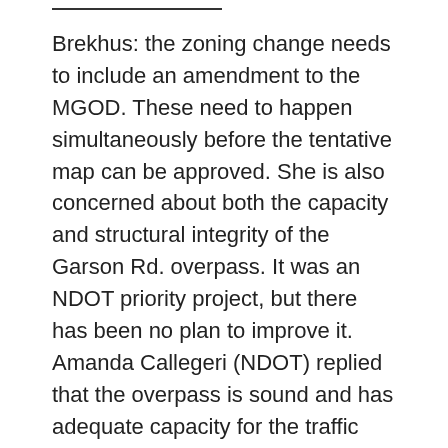Brekhus: the zoning change needs to include an amendment to the MGOD. These need to happen simultaneously before the tentative map can be approved. She is also concerned about both the capacity and structural integrity of the Garson Rd. overpass. It was an NDOT priority project, but there has been no plan to improve it. Amanda Callegeri (NDOT) replied that the overpass is sound and has adequate capacity for the traffic volume indicated in the traffic report. It is not known when funding will be available to improve the overpass.
Duerr: the consideration of issues like funding the new school and the new fire station seems piecemeal while the MGOD documents suggest a